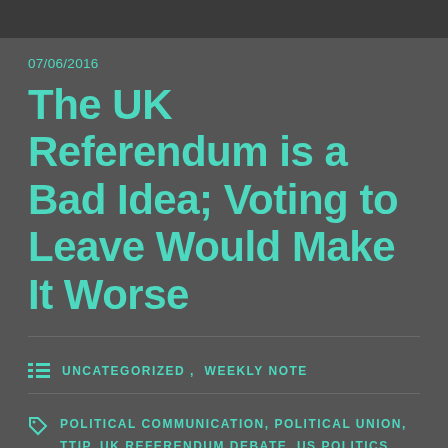07/06/2016
The UK Referendum is a Bad Idea; Voting to Leave Would Make It Worse
UNCATEGORIZED, WEEKLY NOTE
POLITICAL COMMUNICATION, POLITICAL UNION, TTIP, UK REFERENDUM DEBATE, US POLITICS